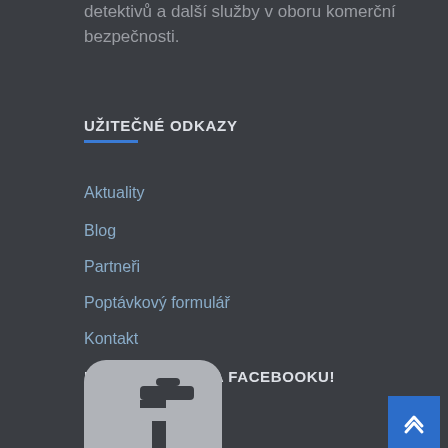detektivů a další služby v oboru komerční bezpečnosti.
UŽITEČNÉ ODKAZY
Aktuality
Blog
Partneři
Poptávkový formulář
Kontakt
NAJDETE NÁS NA FACEBOOKU!
[Figure (logo): Facebook logo icon (partial, showing the lowercase f in grey rounded square)]